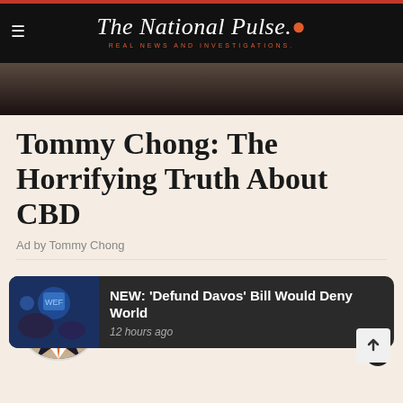The National Pulse. REAL NEWS AND INVESTIGATIONS.
[Figure (photo): Dark hero image background, partial view of a person in dark clothing]
Tommy Chong: The Horrifying Truth About CBD
Ad by Tommy Chong
[Figure (photo): Circular headshot of Steve Cortes, a man in a suit with orange tie, smiling]
Steve Cortes
Steve Cortes was a Senior Advisor for Strategy at the Trump 2020 campaign.
NEW: 'Defund Davos' Bill Would Deny World
12 hours ago